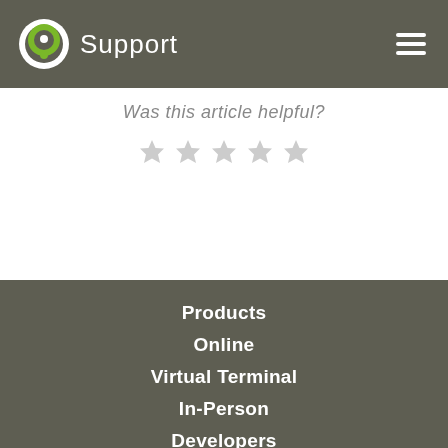Support
Was this article helpful?
[Figure (illustration): Five empty (grey) star rating icons]
Products
Online
Virtual Terminal
In-Person
Developers
Get Started